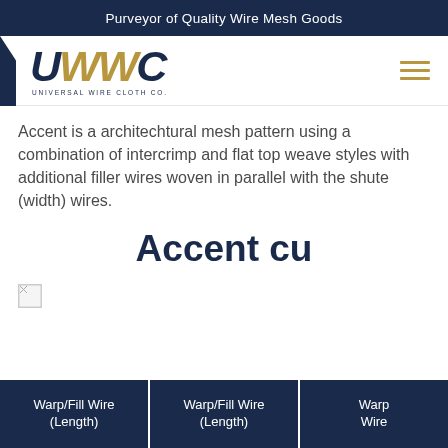Purveyor of Quality Wire Mesh Goods
[Figure (logo): Universal Wire Cloth Co. (UWC) logo with navy text and gold mesh texture on W letter, with hamburger menu icon]
Accent is a architechtural mesh pattern using a combination of intercrimp and flat top weave styles with additional filler wires woven in parallel with the shute (width) wires.
Accent cu
[Figure (photo): Small broken/unloaded image placeholder]
| Warp/Fill Wire (Length) | Warp/Fill Wire (Length) | Warp Wire |
| --- | --- | --- |